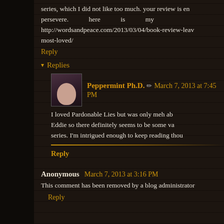series, which I did not like too much. your review is en persevere. here is my http://wordsandpeace.com/2013/03/04/book-review-lea most-loved/
Reply
▾ Replies
Peppermint Ph.D. ✏ March 7, 2013 at 7:45 PM
I loved Pardonable Lies but was only meh ab Eddie so there definitely seems to be some va series. I'm intrigued enough to keep reading thou
Reply
Anonymous March 7, 2013 at 3:16 PM
This comment has been removed by a blog administrator
Reply